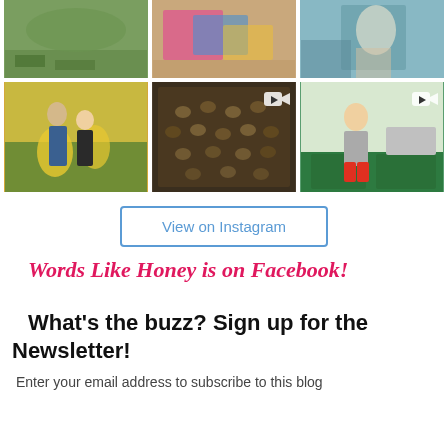[Figure (photo): Instagram grid of 6 photos: row 1 - green field/lawn, colorful fabric/crafts, child in teal outfit; row 2 - couple in sunflower field, bees on honeycomb (video), child at kitchen sink with green cabinets (video)]
View on Instagram
Words Like Honey is on Facebook!
What's the buzz? Sign up for the Newsletter!
Enter your email address to subscribe to this blog